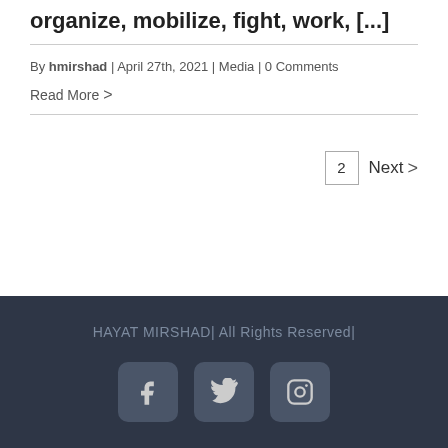organize, mobilize, fight, work, [...]
By hmirshad | April 27th, 2021 | Media | 0 Comments
Read More >
2   Next >
HAYAT MIRSHAD| All Rights Reserved|